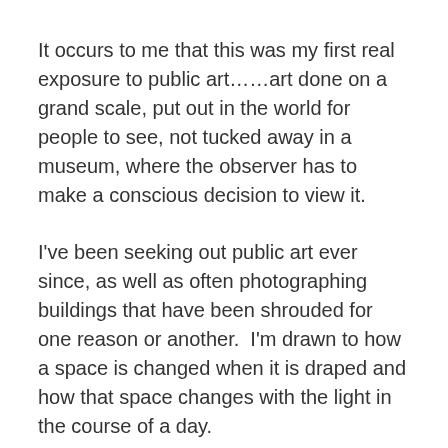It occurs to me that this was my first real exposure to public art……art done on a grand scale, put out in the world for people to see, not tucked away in a museum, where the observer has to make a conscious decision to view it.
I've been seeking out public art ever since, as well as often photographing buildings that have been shrouded for one reason or another.  I'm drawn to how a space is changed when it is draped and how that space changes with the light in the course of a day.
In 2005 I had the opportunity to see a Christo/Jeanne-Claude work in person when The Gates were installed in Central Park.  As I recall, my traveling companions were less than impressed; I was mesmerized.